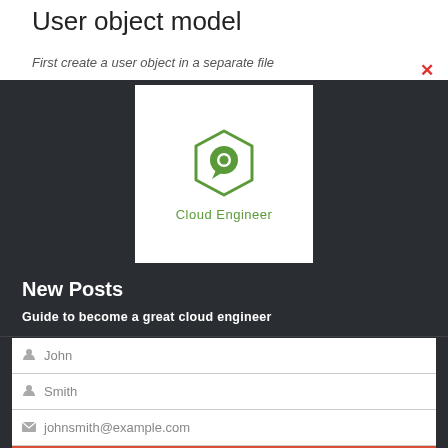User object model
First create a user object in a separate file
[Figure (logo): Cloud Engineer logo: a hexagon outline with a speech bubble icon inside, in green, with 'Cloud Engineer' text below]
New Posts
Guide to become a great cloud engineer
[Figure (screenshot): A web form with three input fields (John, Smith, johnsmith@example.com) and a red Submit button]